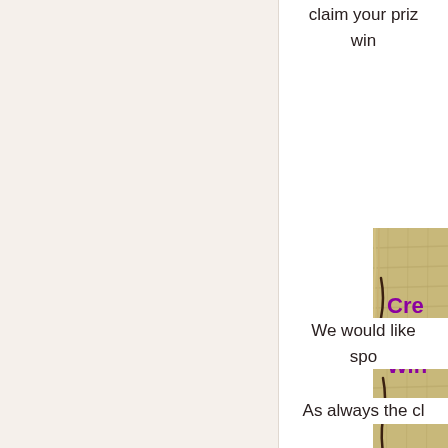claim your priz win
[Figure (photo): Partially visible image showing burlap/linen texture with purple text reading 'Cre Win' (Creative Winners or similar), on a tan/khaki background]
We would like spo
As always the cl